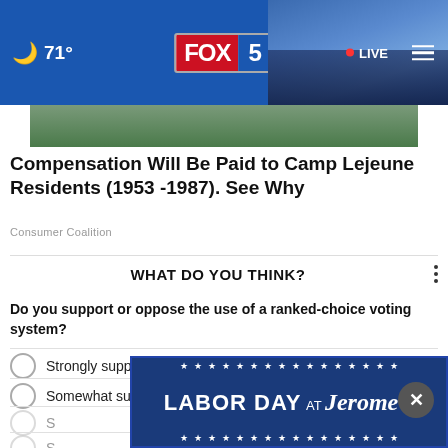FOX 5  71°  LIVE
[Figure (screenshot): Partial image of a person, cropped at top]
Compensation Will Be Paid to Camp Lejeune Residents (1953 -1987). See Why
Consumer Coalition
WHAT DO YOU THINK?
Do you support or oppose the use of a ranked-choice voting system?
Strongly support
Somewhat support
[Figure (infographic): Labor Day at Jerome's banner advertisement]